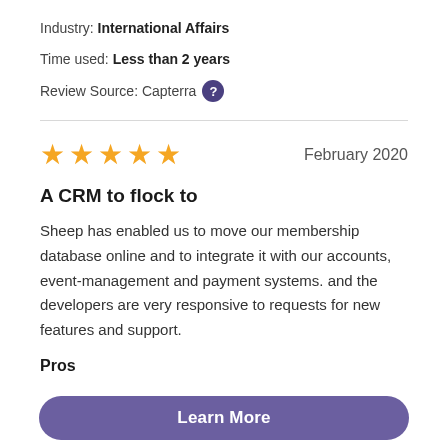Industry: International Affairs
Time used: Less than 2 years
Review Source: Capterra ?
★★★★★   February 2020
A CRM to flock to
Sheep has enabled us to move our membership database online and to integrate it with our accounts, event-management and payment systems. and the developers are very responsive to requests for new features and support.
Pros
Learn More